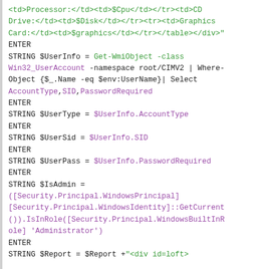<td>Processor:</td><td>$Cpu</td></tr><td>CD Drive:</td><td>$Disk</td></tr><tr><td>Graphics Card:</td><td>$graphics</td></tr></table></div>"
ENTER
STRING $UserInfo = Get-WmiObject -class Win32_UserAccount -namespace root/CIMV2 | Where-Object {$_.Name -eq $env:UserName}| Select AccountType,SID,PasswordRequired
ENTER
STRING $UserType = $UserInfo.AccountType
ENTER
STRING $UserSid = $UserInfo.SID
ENTER
STRING $UserPass = $UserInfo.PasswordRequired
ENTER
STRING $IsAdmin =
([Security.Principal.WindowsPrincipal][Security.Principal.WindowsIdentity]::GetCurrent()).IsInRole([Security.Principal.WindowsBuiltInRole] 'Administrator')
ENTER
STRING $Report = $Report +"<div id=loft>